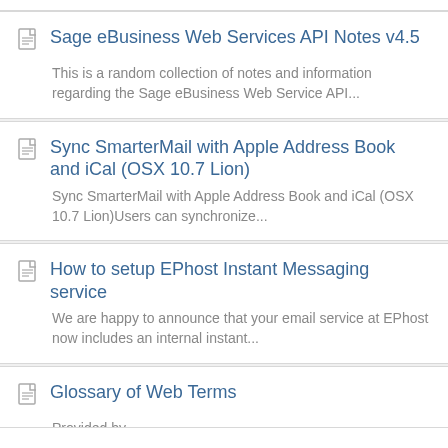Sage eBusiness Web Services API Notes v4.5 — This is a random collection of notes and information regarding the Sage eBusiness Web Service API...
Sync SmarterMail with Apple Address Book and iCal (OSX 10.7 Lion) — Sync SmarterMail with Apple Address Book and iCal (OSX 10.7 Lion)Users can synchronize...
How to setup EPhost Instant Messaging service — We are happy to announce that your email service at EPhost now includes an internal instant...
Glossary of Web Terms — Provided by http://www.w3schools.com/web/web_glossary.aspAccess (Microsoft Access)A database...